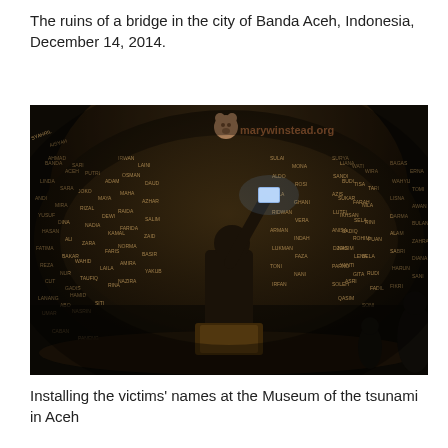The ruins of a bridge in the city of Banda Aceh, Indonesia, December 14, 2014.
[Figure (photo): A dark interior of a dome-shaped memorial space covered floor to ceiling with names of tsunami victims. A person stands in the center holding up a glowing smartphone to photograph the ceiling. Other visitors are visible in the background. A watermark reading 'marywinstead.org' appears in the upper right.]
Installing the victims' names at the Museum of the tsunami in Aceh